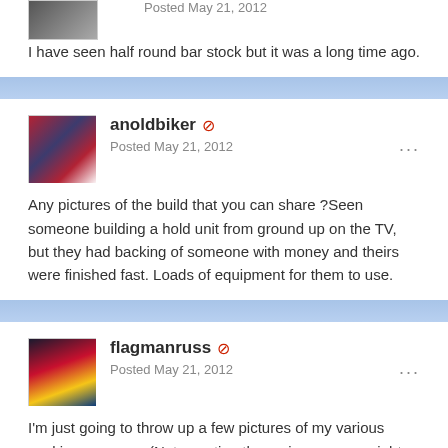Posted May 21, 2012
I have seen half round bar stock but it was a long time ago.
anoldbiker ⊘
Posted May 21, 2012
Any pictures of the build that you can share ?Seen someone building a hold unit from ground up on the TV, but they had backing of someone with money and theirs were finished fast. Loads of equipment for them to use.
flagmanruss ⊘
Posted May 21, 2012
I'm just going to throw up a few pictures of my various working cannons. (Not counting the various paperweight cannons that I've been gifted.)
I was working on the yoke for the Crown Point Swivel... I have a modern SS collar with an allen bolt just to hold the 2 halves together for now.